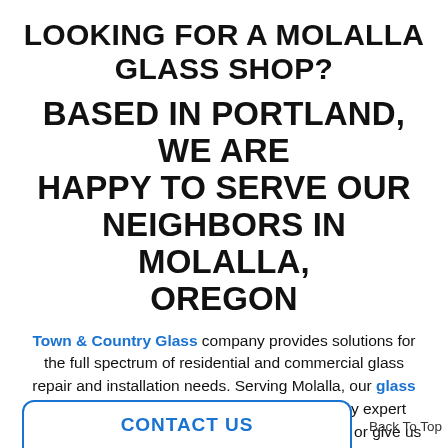LOOKING FOR A MOLALLA GLASS SHOP?
BASED IN PORTLAND, WE ARE HAPPY TO SERVE OUR NEIGHBORS IN MOLALLA, OREGON
Town & Country Glass company provides solutions for the full spectrum of residential and commercial glass repair and installation needs. Serving Molalla, our glass shop located in Portland, Oregon is staffed by expert glaziers ready to assist you. Learn more below, or give us a call now!
CONTACT US
Back To Top